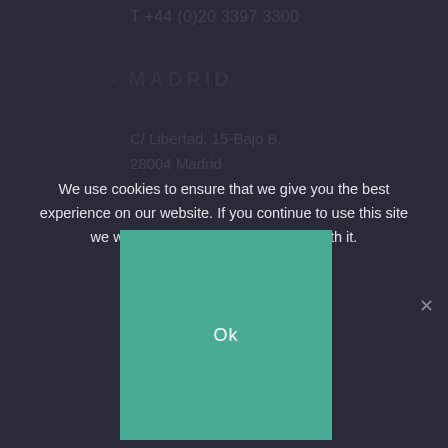T +44 (0)20 3397 3300
- MADRID
C/ Libertad, 15-Bajo B.
28004 Madrid
We use cookies to ensure that we give you the best experience on our website. If you continue to use this site we will assume that you are happy with it.
[Figure (other): Teal/green colored rectangular button area with 'Ok' text in white, part of a cookie consent dialog overlay on a dark background. An X close button appears to the right.]